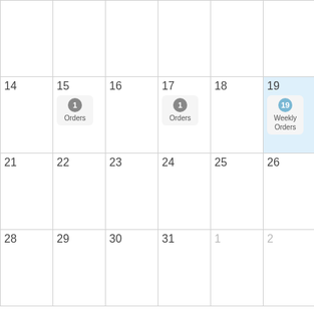[Figure (other): Monthly calendar grid showing partial month view. Row 1 (partial top): columns for days 14-20 area. Row showing dates 14,15,16,17,18,19,20 where 15 has event badge '1 Orders', 17 has event badge '1 Orders', 19 is highlighted in blue with badge '19 Weekly Orders'. Row showing 21-27 with no events. Row showing 28,29,30,31,1,2,3 where 1,2,3 are grayed out (next month).]